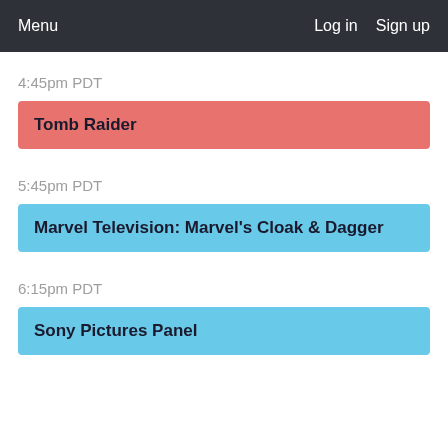Menu   Log in   Sign up
4:45pm PDT
Tomb Raider
5:45pm PDT
Marvel Television: Marvel's Cloak & Dagger
6:15pm PDT
Sony Pictures Panel